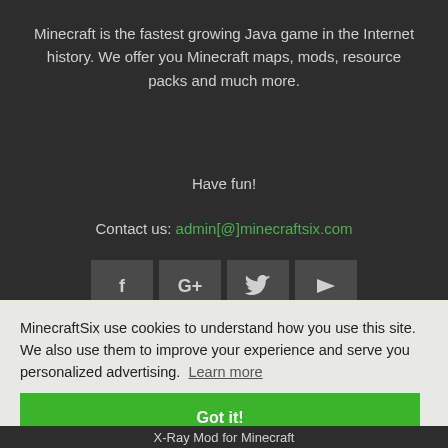Minecraft is the fastest growing Java game in the Internet history. We offer you Minecraft maps, mods, resource packs and much more.
Have fun!
Contact us: admin[@]minecraftsix.com
[Figure (other): Four social media icon buttons: Facebook (f), Google+ (G+), Twitter (bird), YouTube (play button)]
MinecraftSix use cookies to understand how you use this site. We also use them to improve your experience and serve you personalized advertising. Learn more
Got it!
X-Ray Mod for Minecraft